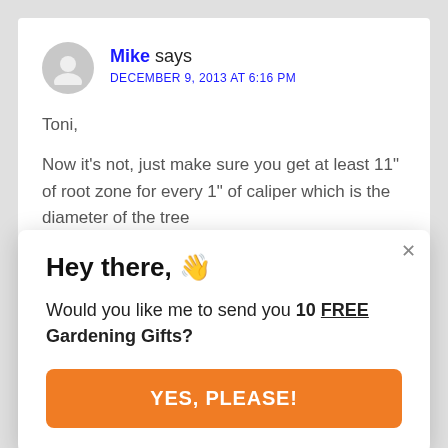Mike says
DECEMBER 9, 2013 AT 6:16 PM
Toni,

Now it's not, just make sure you get at least 11" of root zone for every 1" of caliper which is the diameter of the tree
Hey there, 👋
Would you like me to send you 10 FREE Gardening Gifts?
YES, PLEASE!